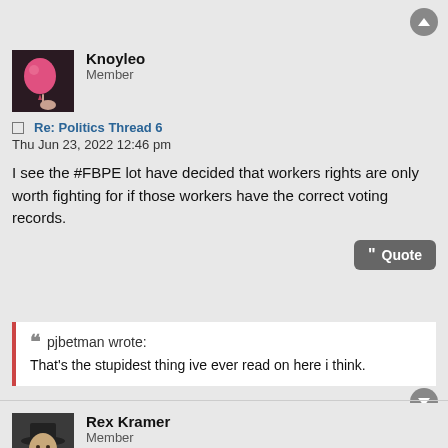Knoyleo
Member
Re: Politics Thread 6
Thu Jun 23, 2022 12:46 pm
I see the #FBPE lot have decided that workers rights are only worth fighting for if those workers have the correct voting records.
pjbetman wrote:
That's the stupidest thing ive ever read on here i think.
Rex Kramer
Member
Re: Politics Thread 6
Thu Jun 23, 2022 12:50 pm
Oblomov Boblomov wrote:
Related: that twat from the Sun moaning about Brexit 😒 wtf: